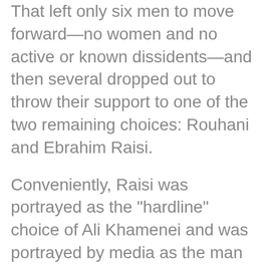That left only six men to move forward—no women and no active or known dissidents—and then several dropped out to throw their support to one of the two remaining choices: Rouhani and Ebrahim Raisi.
Conveniently, Raisi was portrayed as the "hardline" choice of Ali Khamenei and was portrayed by media as the man who would roll back all the "positive" achievements wrought by Rouhani over the past four years.
Given Raisi's bloody history as a special prosecutor that oversaw the executions of tens of thousands of Iranian dissidents, it's easy to see why he might be viewed as slightly more bloodthirsty than Rouhani who oversaw only the execution of mere thousands of